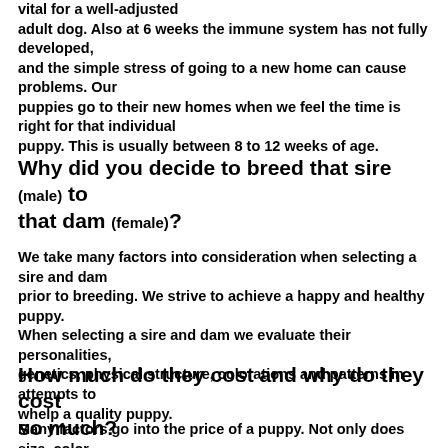vital for a well-adjusted adult dog. Also at 6 weeks the immune system has not fully developed, and the simple stress of going to a new home can cause problems.   Our puppies go to their new homes when we feel the time is right for that individual puppy.  This is usually between 8 to 12 weeks of age.
Why did you decide to breed that sire (male) to that dam (female)?
We take many factors into consideration when selecting a sire and dam prior to breeding.  We strive to achieve a happy and healthy puppy. When selecting a sire and dam we evaluate their personalities, genetics, physical structure, colorations and patterns in attempts to whelp a quality puppy.
How much do they cost and why do they cost so much?
Many factors go into the price of a puppy.  Not only does size, color,